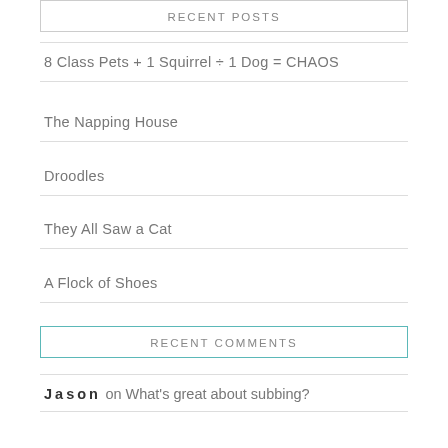RECENT POSTS
8 Class Pets + 1 Squirrel ÷ 1 Dog = CHAOS
The Napping House
Droodles
They All Saw a Cat
A Flock of Shoes
RECENT COMMENTS
Jason on What's great about subbing?